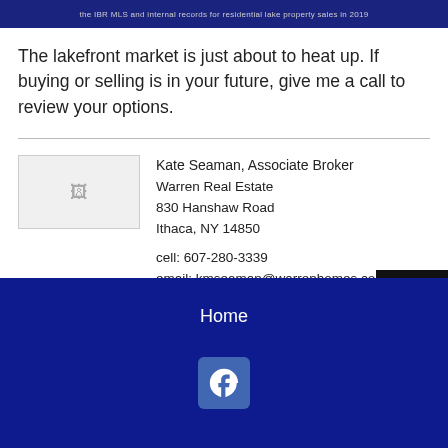[Figure (other): Banner image with logo and text about IBR MLS and internal records for residential lake property sales in 2019]
The lakefront market is just about to heat up. If buying or selling is in your future, give me a call to review your options.
Kate Seaman, Associate Broker
Warren Real Estate
830 Hanshaw Road
Ithaca, NY 14850

cell: 607-280-3339
email: kmseaman@warrenhomes.com
Home
[Figure (other): Share button with hexagon pattern background]
[Figure (logo): Facebook icon button in blue]